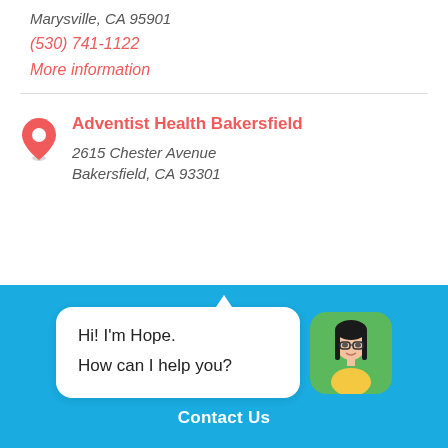Marysville, CA 95901
(530) 741-1122
More information
Adventist Health Bakersfield
2615 Chester Avenue
Bakersfield, CA 93301
[Figure (illustration): Chat widget on blue background showing avatar of a woman with glasses on green rounded square background and speech bubble saying 'Hi! I'm Hope. How can I help you?' with Contact Us link below]
Contact Us